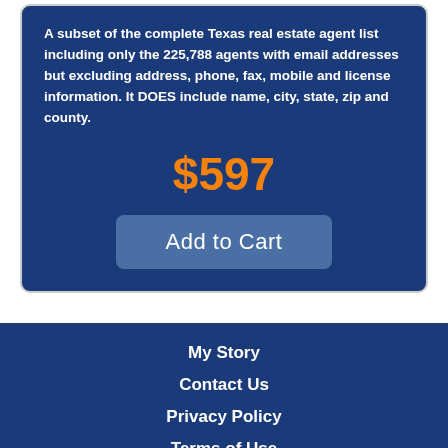A subset of the complete Texas real estate agent list including only the 225,788 agents with email addresses but excluding address, phone, fax, mobile and license information. It DOES include name, city, state, zip and county.
$597
Add to Cart
My Story
Contact Us
Privacy Policy
Terms of Use
© 2022 Dr Bill LLC